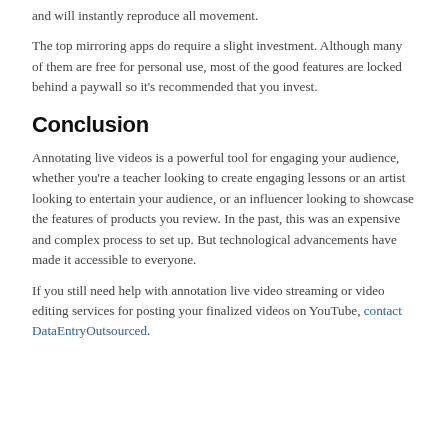and will instantly reproduce all movement.
The top mirroring apps do require a slight investment. Although many of them are free for personal use, most of the good features are locked behind a paywall so it's recommended that you invest.
Conclusion
Annotating live videos is a powerful tool for engaging your audience, whether you’re a teacher looking to create engaging lessons or an artist looking to entertain your audience, or an influencer looking to showcase the features of products you review. In the past, this was an expensive and complex process to set up. But technological advancements have made it accessible to everyone.
If you still need help with annotation live video streaming or video editing services for posting your finalized videos on YouTube, contact DataEntryOutsourced.